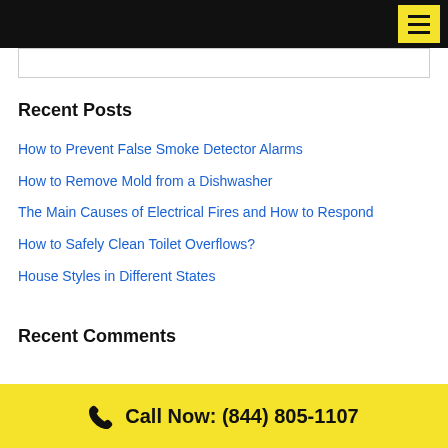Navigation menu header with hamburger button
Recent Posts
How to Prevent False Smoke Detector Alarms
How to Remove Mold from a Dishwasher
The Main Causes of Electrical Fires and How to Respond
How to Safely Clean Toilet Overflows?
House Styles in Different States
Recent Comments
Call Now: (844) 805-1107